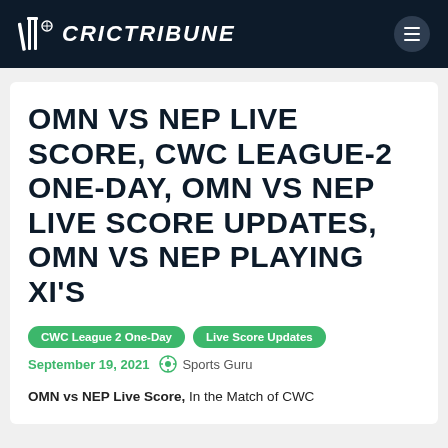CRICTRIBUNE
OMN VS NEP LIVE SCORE, CWC LEAGUE-2 ONE-DAY, OMN VS NEP LIVE SCORE UPDATES, OMN VS NEP PLAYING XI'S
CWC League 2 One-Day
Live Score Updates
September 19, 2021  Sports Guru
OMN vs NEP Live Score, In the Match of CWC